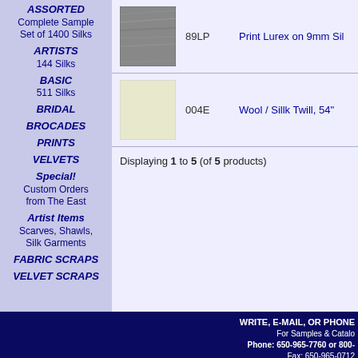ASSORTED Complete Sample Set of 1400 Silks
ARTISTS 144 Silks
BASIC 511 Silks
BRIDAL
BROCADES
PRINTS
VELVETS
Special! Custom Orders from The East
Artist Items Scarves, Shawls, Silk Garments
FABRIC SCRAPS
VELVET SCRAPS
[Figure (photo): Fabric swatch for 89LP - Print Lurex on 9mm Silk, grey textured fabric]
89LP   Print Lurex on 9mm Sil
[Figure (photo): Fabric swatch for 004E - Wool / Silk Twill, 54", light cream/ivory colored fabric]
004E   Wool / Sillk Twill, 54"
Displaying 1 to 5 (of 5 products)
WRITE, E-MAIL, OR PHONE For Samples & Catalo Phone: 650-965-7760 or 800- Fax: 650-965-0712 E-Mail: silks@exoticsilks 1959 B Leghorn, Mountain View, © 2022 Exotic Silks. All rights